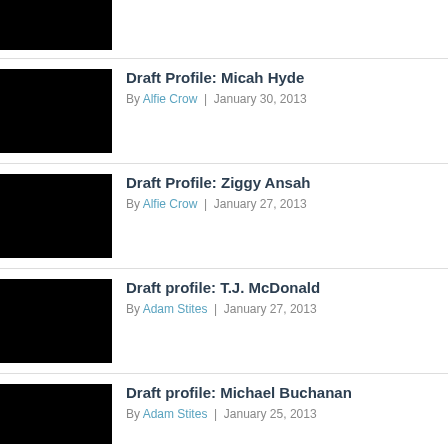[Figure (photo): Partially visible black image thumbnail at top]
Draft Profile: Micah Hyde
By Alfie Crow | January 30, 2013
[Figure (photo): Black image thumbnail for Micah Hyde article]
Draft Profile: Ziggy Ansah
By Alfie Crow | January 27, 2013
[Figure (photo): Black image thumbnail for Ziggy Ansah article]
Draft profile: T.J. McDonald
By Adam Stites | January 27, 2013
[Figure (photo): Black image thumbnail for T.J. McDonald article]
Draft profile: Michael Buchanan
By Adam Stites | January 25, 2013